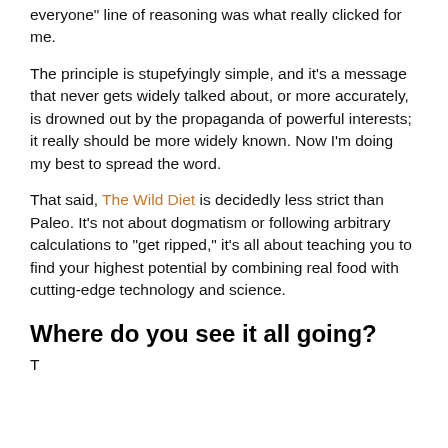everyone" line of reasoning was what really clicked for me.
The principle is stupefyingly simple, and it's a message that never gets widely talked about, or more accurately, is drowned out by the propaganda of powerful interests; it really should be more widely known. Now I'm doing my best to spread the word.
That said, The Wild Diet is decidedly less strict than Paleo. It's not about dogmatism or following arbitrary calculations to "get ripped," it's all about teaching you to find your highest potential by combining real food with cutting-edge technology and science.
Where do you see it all going?
T